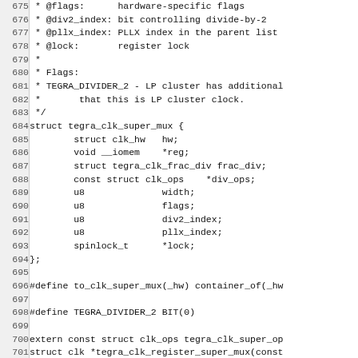Source code listing, lines 675-704, C struct definition for tegra_clk_super_mux with comments and macro definitions.